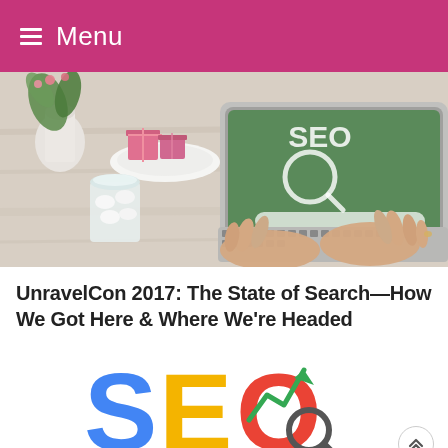Menu
[Figure (photo): Overhead photo of a woman's hands typing on a laptop. The laptop screen shows a green chalkboard with an SEO search bar graphic. Nearby are pink gift boxes on a plate, a white vase with flowers, and a jar of marshmallows on a wooden table.]
UnravelCon 2017: The State of Search—How We Got Here & Where We're Headed
[Figure (logo): Colorful SEO logo: 'S' in blue, 'E' in yellow, 'O' in red with a green upward-trending arrow chart inside the O, and a magnifying glass handle below in dark color.]